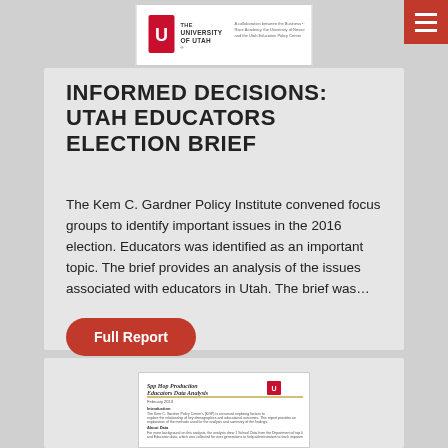[Figure (logo): University of Utah logo with text about Kem C. Gardner Policy Institute]
INFORMED DECISIONS: UTAH EDUCATORS ELECTION BRIEF
The Kem C. Gardner Policy Institute convened focus groups to identify important issues in the 2016 election. Educators was identified as an important topic. The brief provides an analysis of the issues associated with educators in Utah. The brief was...
[Figure (screenshot): Full Report button - red rounded rectangle with white text]
[Figure (screenshot): Document thumbnail showing SPP HOP PRODUCTION EDUCATORS DATA ANALYSIS report cover page with University of Utah logo]